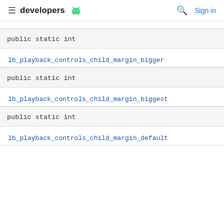developers [android logo] | Sign in
public static int
lb_playback_controls_child_margin_bigger
public static int
lb_playback_controls_child_margin_biggest
public static int
lb_playback_controls_child_margin_default